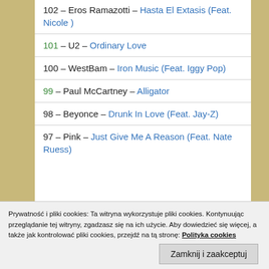102 – Eros Ramazotti – Hasta El Extasis (Feat. Nicole )
101 – U2 – Ordinary Love
100 – WestBam – Iron Music (Feat. Iggy Pop)
99 – Paul McCartney – Alligator
98 – Beyonce – Drunk In Love (Feat. Jay-Z)
97 – Pink – Just Give Me A Reason (Feat. Nate Ruess)
Prywatność i pliki cookies: Ta witryna wykorzystuje pliki cookies. Kontynuując przeglądanie tej witryny, zgadzasz się na ich użycie. Aby dowiedzieć się więcej, a także jak kontrolować pliki cookies, przejdź na tą stronę: Polityka cookies
Zamknij i zaakceptuj